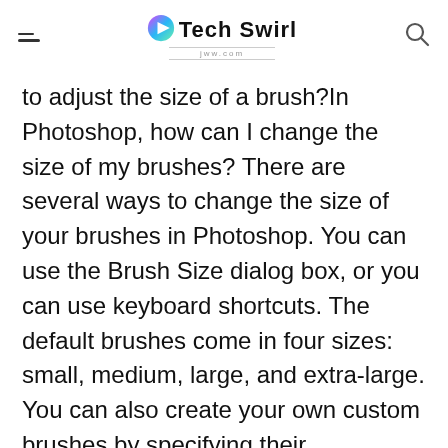Tech Swirl
to adjust the size of a brush?In Photoshop, how can I change the size of my brushes? There are several ways to change the size of your brushes in Photoshop. You can use the Brush Size dialog box, or you can use keyboard shortcuts. The default brushes come in four sizes: small, medium, large, and extra-large. You can also create your own custom brushes by specifying their dimensions in pixels.You can change the size of a brush using either the Brush Size dialog box or keyboard shortcuts. To access the